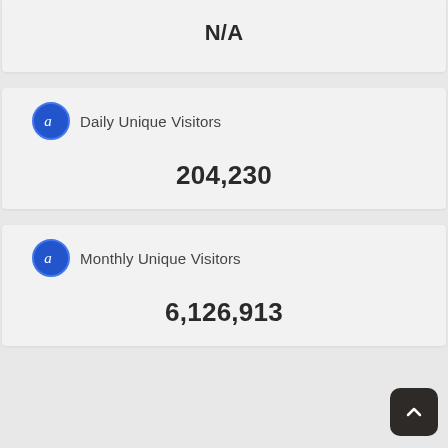N/A
Daily Unique Visitors
204,230
Monthly Unique Visitors
6,126,913